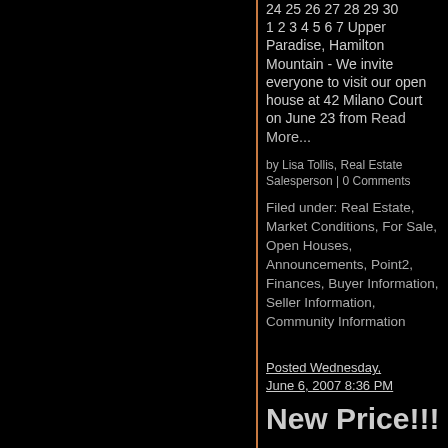24 25 26 27 28 29 30 1 2 3 4 5 6 7 Upper Paradise, Hamilton Mountain - We invite everyone to visit our open house at 42 Milano Court on June 23 from Read More...
by Lisa Tollis, Real Estate Salesperson | 0 Comments
Filed under: Real Estate, Market Conditions, For Sale, Open Houses, Announcements, Point2, Finances, Buyer Information, Seller Information, Community Information
Posted Wednesday, June 6, 2007 8:36 PM
New Price!!!